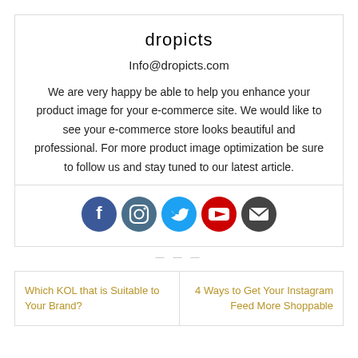dropicts
Info@dropicts.com
We are very happy be able to help you enhance your product image for your e-commerce site. We would like to see your e-commerce store looks beautiful and professional. For more product image optimization be sure to follow us and stay tuned to our latest article.
[Figure (infographic): Row of 5 social media icon circles: Facebook (dark blue), Instagram (dark teal), Twitter (light blue), YouTube (red), Email (dark gray)]
- - -
Which KOL that is Suitable to Your Brand?
4 Ways to Get Your Instagram Feed More Shoppable